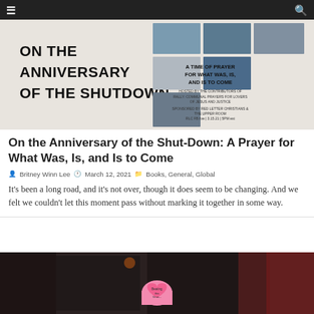☰  🔍
[Figure (illustration): Promotional banner for 'On the Anniversary of the Shutdown' prayer event. Shows title text 'ON THE ANNIVERSARY OF THE SHUTDOWN' on left with photo collage on right and text 'A TIME OF PRAYER FOR WHAT WAS, IS, AND IS TO COME'. Hosted by contributors of Rally: Communal Prayers for Lovers of Jesus and Justice. Sponsored by Red Letter Christians & The Upper Room. RLC FB live | 3.15.21 | 5PM est]
On the Anniversary of the Shut-Down: A Prayer for What Was, Is, and Is to Come
Britney Winn Lee   March 12, 2021   Books, General, Global
It's been a long road, and it's not over, though it does seem to be changing. And we felt we couldn't let this moment pass without marking it together in some way.
[Figure (photo): Dark photo of a storefront or window with a pink heart-shaped sticky note saying 'Beating this Virus...']